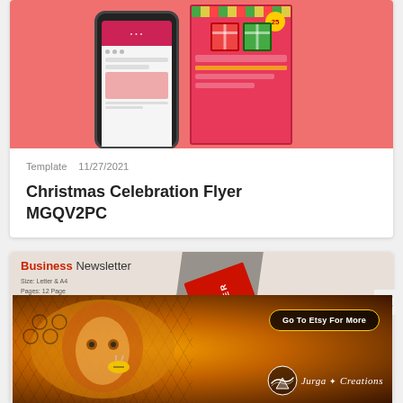[Figure (screenshot): Thumbnail image of Christmas Celebration Flyer template showing a phone mockup and a Christmas flyer with gift boxes on a coral/pink background]
Template   11/27/2021
Christmas Celebration Flyer MGQV2PC
[Figure (screenshot): Business Newsletter template preview showing a red diagonal newsletter mock-up on a dark background]
[Figure (illustration): Jurga Creations banner ad with colorful artistic illustration featuring a face surrounded by honeycomb patterns, orange/gold tones, with 'Go To Etsy For More' button and Jurga Creations logo]